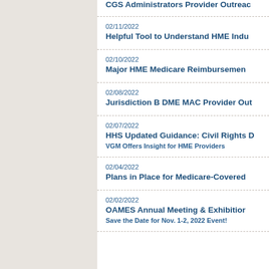CGS Administrators Provider Outreach
02/11/2022
Helpful Tool to Understand HME Indu
02/10/2022
Major HME Medicare Reimbursemen
02/08/2022
Jurisdiction B DME MAC Provider Out
02/07/2022
HHS Updated Guidance: Civil Rights D
VGM Offers Insight for HME Providers
02/04/2022
Plans in Place for Medicare-Covered
02/02/2022
OAMES Annual Meeting & Exhibition
Save the Date for Nov. 1-2, 2022 Event!